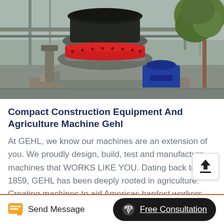[Figure (photo): Industrial cone crusher / grinding machine with black top chamber, red ring collar, grey body mounted on a platform base, with a blue motor visible at right and green leafy tree in background]
Compact Construction Equipment And Agriculture Machine Gehl
At GEHL, we know our machines are an extension of you. We proudly design, build, test and manufacture machines that WORKS LIKE YOU. Dating back to 1859, GEHL has been deeply rooted in agriculture. Creating machines to aid Americas hardest workers. Many years later, we offer products world-wide that
Send Message   Free Consultation